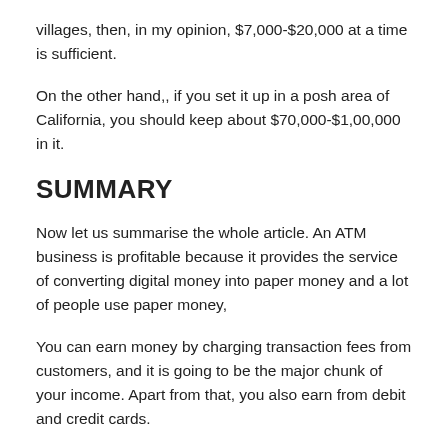villages, then, in my opinion, $7,000-$20,000 at a time is sufficient.
On the other hand,, if you set it up in a posh area of California, you should keep about $70,000-$1,00,000 in it.
SUMMARY
Now let us summarise the whole article. An ATM business is profitable because it provides the service of converting digital money into paper money and a lot of people use paper money,
You can earn money by charging transaction fees from customers, and it is going to be the major chunk of your income. Apart from that, you also earn from debit and credit cards.